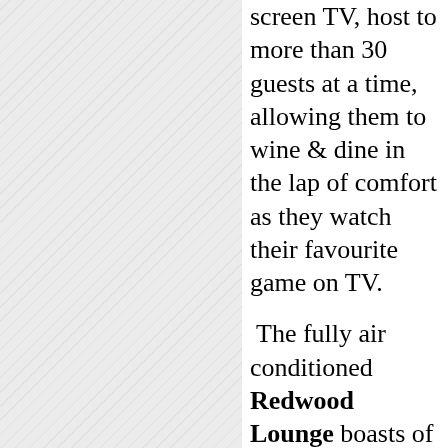[Figure (photo): Image area with diagonal hatching pattern representing a photo placeholder on the left side of the page]
screen TV, host to more than 30 guests at a time, allowing them to wine & dine in the lap of comfort as they watch their favourite game on TV.

The fully air conditioned Redwood Lounge boasts of two splendid pool tables,